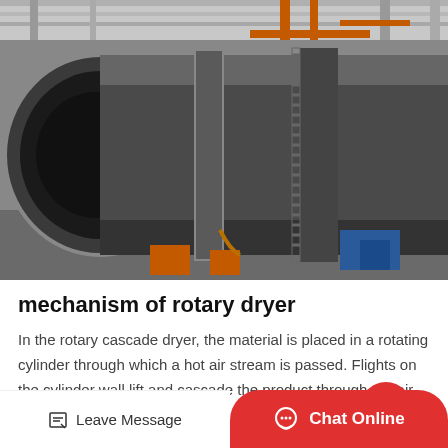[Figure (photo): Industrial photograph of a large rotary dryer cylinder lying horizontally in a factory/warehouse setting. The massive cylindrical drum shows metal flanges and gear rings, supported on stands. Orange crane structure visible in background.]
mechanism of rotary dryer
In the rotary cascade dryer, the material is placed in a rotating cylinder through which a hot air stream is passed. Flights on the cylinder wall lift and cascade the product through the air. In a